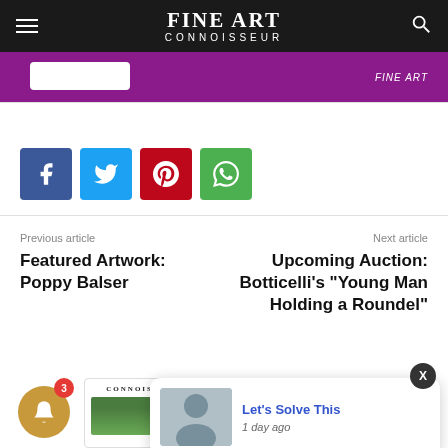FINE ART CONNOISSEUR
[Figure (screenshot): Purple advertisement banner with white rounded-rectangle button and red-tinted 'FINE ART' text on the right]
[Figure (infographic): Four social share buttons: Facebook (blue), Twitter (cyan), Pinterest (red), WhatsApp (green)]
Previous article
Featured Artwork: Poppy Balser
Next article
Upcoming Auction: Botticelli's "Young Man Holding a Roundel"
[Figure (screenshot): Notification popup with thumbnail of a man in a suit, title 'Let's Solve This', and timestamp '1 day ago']
[Figure (screenshot): Partial bottom card showing 'CONNOISSEUR' label and a green landscape image thumbnail]